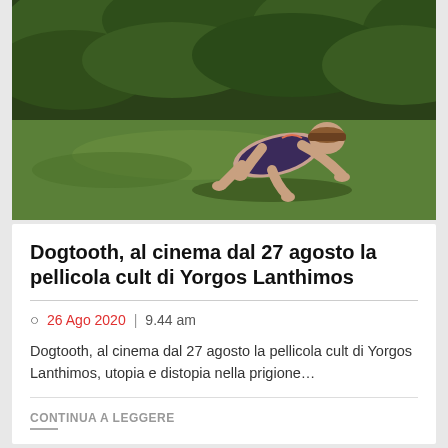[Figure (photo): Woman crawling on all fours on grass, wearing swimsuit with blindfold, outdoor scene with green bushes in background - still from film Dogtooth]
Dogtooth, al cinema dal 27 agosto la pellicola cult di Yorgos Lanthimos
26 Ago 2020 | 9.44 am
Dogtooth, al cinema dal 27 agosto la pellicola cult di Yorgos Lanthimos, utopia e distopia nella prigione…
CONTINUA A LEGGERE
[Figure (photo): Bottom strip showing partial images of additional article thumbnails]